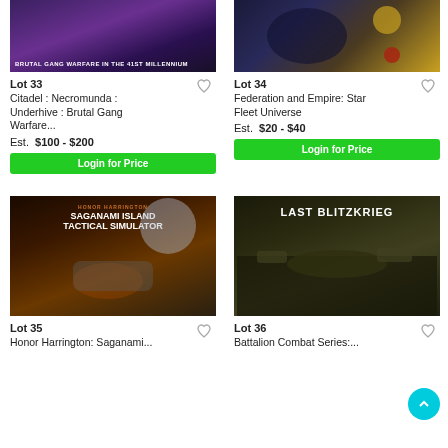[Figure (illustration): Necromunda Underhive game box art - purple dark sci-fi imagery with text 'BRUTAL GANG WARFARE IN THE 41ST MILLENNIUM']
Lot 33
Citadel : Necromunda : Underhive : Brutal Gang Warfare...
Est.  $100 - $200
Login for Price
[Figure (illustration): Federation and Empire Star Fleet Universe game box art - dark space scene with planets and figures]
Lot 34
Federation and Empire: Star Fleet Universe
Est.  $20 - $40
Login for Price
[Figure (illustration): Honor Harrington Saganami Island Tactical Simulator game box - officer in white hat with spaceship]
Lot 35
Honor Harrington: Saganami...
[Figure (illustration): Last Blitzkrieg game box - dark wartime imagery with tank silhouettes]
Lot 36
Battalion Combat Series: